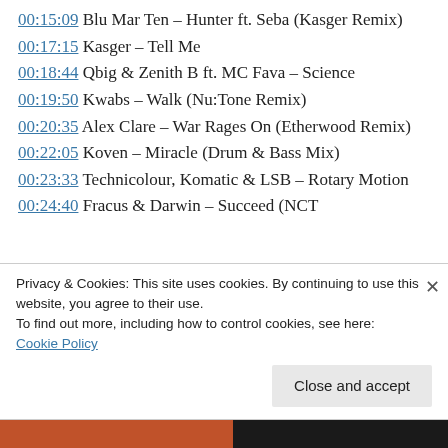00:15:09 Blu Mar Ten – Hunter ft. Seba (Kasger Remix)
00:17:15 Kasger – Tell Me
00:18:44 Qbig & Zenith B ft. MC Fava – Science
00:19:50 Kwabs – Walk (Nu:Tone Remix)
00:20:35 Alex Clare – War Rages On (Etherwood Remix)
00:22:05 Koven – Miracle (Drum & Bass Mix)
00:23:33 Technicolour, Komatic & LSB – Rotary Motion
00:24:40 Fracus & Darwin – Succeed (NCT
Privacy & Cookies: This site uses cookies. By continuing to use this website, you agree to their use.
To find out more, including how to control cookies, see here: Cookie Policy
Close and accept